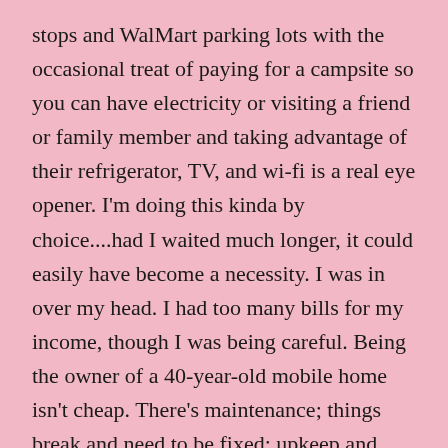stops and WalMart parking lots with the occasional treat of paying for a campsite so you can have electricity or visiting a friend or family member and taking advantage of their refrigerator, TV, and wi-fi is a real eye opener. I'm doing this kinda by choice....had I waited much longer, it could easily have become a necessity. I was in over my head. I had too many bills for my income, though I was being careful. Being the owner of a 40-year-old mobile home isn't cheap. There's maintenance; things break and need to be fixed; upkeep and replacement of old parts and components can get really expensive. I had a 40-year-old air conditioning unit, 40-year-old windows, and the plumbing and water heater needed help. Those items alone could have run into the tens